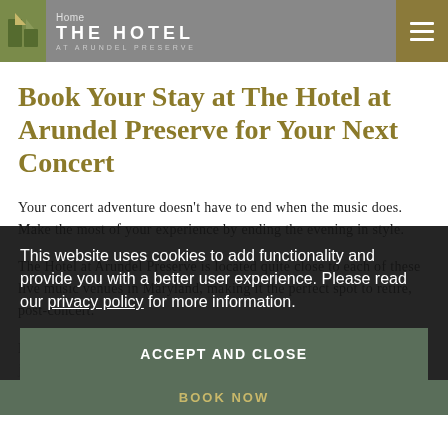Rod and Keal, and Hunter Rich are all frequent performers
THE HOTEL AT ARUNDEL PRESERVE — Home | Navigation Menu
Book Your Stay at The Hotel at Arundel Preserve for Your Next Concert
Your concert adventure doesn't have to end when the music does. Make the most of your experience by ending the evening in style.
The Hotel at Arundel Preserve is located quite close to each of these live music venues in Maryland, making it the perfect spot to retire, post-concert.
This website uses cookies to add functionality and provide you with a better user experience. Please read our privacy policy for more information.
ACCEPT AND CLOSE
BOOK NOW